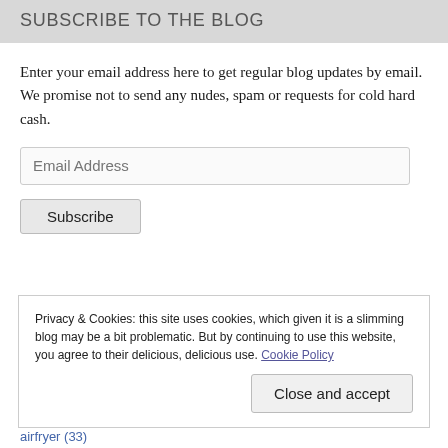SUBSCRIBE TO THE BLOG
Enter your email address here to get regular blog updates by email. We promise not to send any nudes, spam or requests for cold hard cash.
Privacy & Cookies: this site uses cookies, which given it is a slimming blog may be a bit problematic. But by continuing to use this website, you agree to their delicious, delicious use. Cookie Policy
airfryer (33)